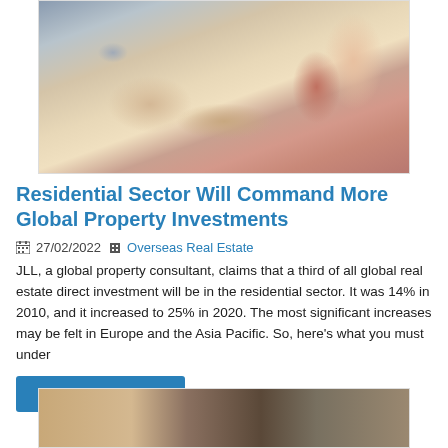[Figure (photo): Interior photo of a modern apartment living/dining area with a wooden table, red armchair, pink sofa, and large window with city view.]
Residential Sector Will Command More Global Property Investments
27/02/2022  Overseas Real Estate
JLL, a global property consultant, claims that a third of all global real estate direct investment will be in the residential sector. It was 14% in 2010, and it increased to 25% in 2020. The most significant increases may be felt in Europe and the Asia Pacific. So, here's what you must under
Continue reading →
[Figure (photo): Partial view of another property interior photo, cropped at bottom of page.]